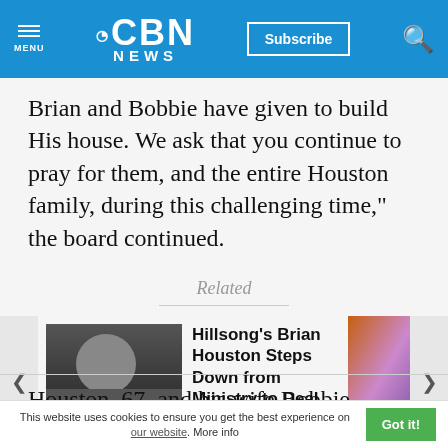CBN NEWS
Brian and Bobbie have given to build His house. We ask that you continue to pray for them, and the entire Houston family, during this challenging time," the board continued.
Related
[Figure (photo): News article card: photo of Brian Houston with headline 'Hillsong's Brian Houston Steps Down from Ministry to Deal with Charges of']
Houston, 67, and his wife Bobbie founded
This website uses cookies to ensure you get the best experience on our website. More info